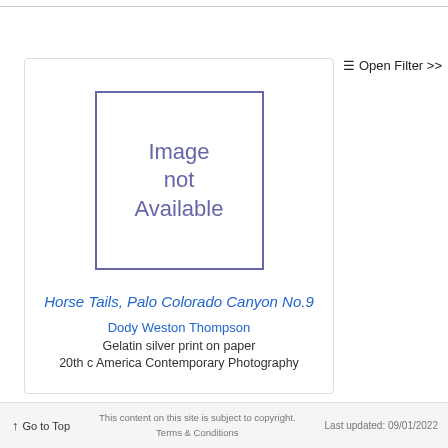[Figure (other): Image not Available placeholder box with purple border and text]
Horse Tails, Palo Colorado Canyon No.9
Dody Weston Thompson
Gelatin silver print on paper
20th c America Contemporary Photography
≡ Open Filter >>
↑ Go to Top   This content on this site is subject to copyright. Terms & Conditions   Last updated: 09/01/2022